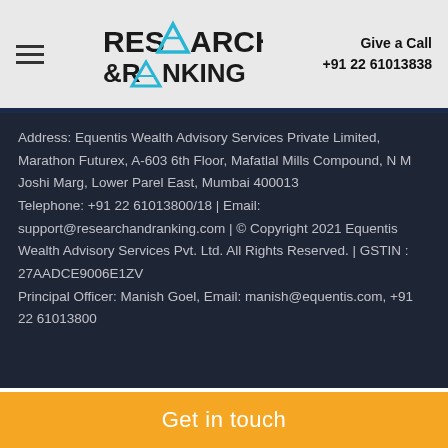Research & Ranking | Give a Call +91 22 61013838
Address: Equentis Wealth Advisory Services Private Limited, Marathon Futurex, A-603 6th Floor, Mafatlal Mills Compound, N M Joshi Marg, Lower Parel East, Mumbai 400013 Telephone: +91 22 61013800/18 | Email: support@researchandranking.com | © Copyright 2021 Equentis Wealth Advisory Services Pvt. Ltd. All Rights Reserved. | GSTIN : 27AADCE9006E1ZV Principal Officer: Manish Goel, Email: manish@equentis.com, +91 22 61013800
SEBI Office Details: SEBI Bhavan BKC
Address: Plot No.C4-A, 'G' Block Bandra-Kurla Complex, Bandra (East),
Get in touch